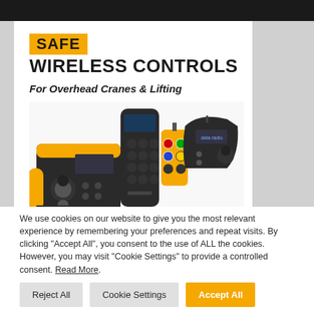SAFE WIRELESS CONTROLS For Overhead Cranes & Lifting
[Figure (photo): Collection of wireless remote control devices for overhead cranes and lifting equipment, including joystick controllers, button remotes in yellow and black colors]
We use cookies on our website to give you the most relevant experience by remembering your preferences and repeat visits. By clicking "Accept All", you consent to the use of ALL the cookies. However, you may visit "Cookie Settings" to provide a controlled consent. Read More.